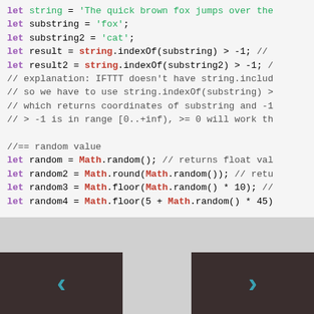[Figure (screenshot): Code snippet showing JavaScript string indexOf, Math.random, and array operations with syntax highlighting on a light gray background.]
[Figure (screenshot): Navigation buttons: left arrow (previous) and right arrow (next) on dark brown background.]